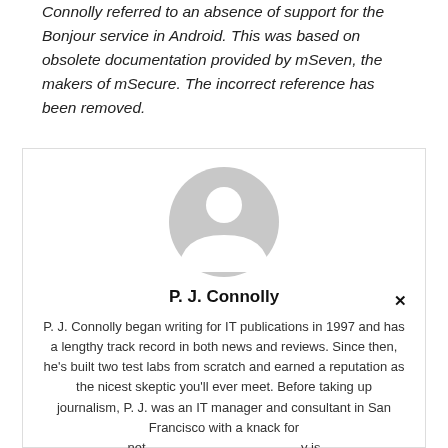Connolly referred to an absence of support for the Bonjour service in Android. This was based on obsolete documentation provided by mSeven, the makers of mSecure. The incorrect reference has been removed.
[Figure (illustration): Generic user avatar icon — a grey circle with a white silhouette of a person (head circle plus shoulders arc).]
P. J. Connolly
P. J. Connolly began writing for IT publications in 1997 and has a lengthy track record in both news and reviews. Since then, he's built two test labs from scratch and earned a reputation as the nicest skeptic you'll ever meet. Before taking up journalism, P. J. was an IT manager and consultant in San Francisco with a knack for net... y is e... l.